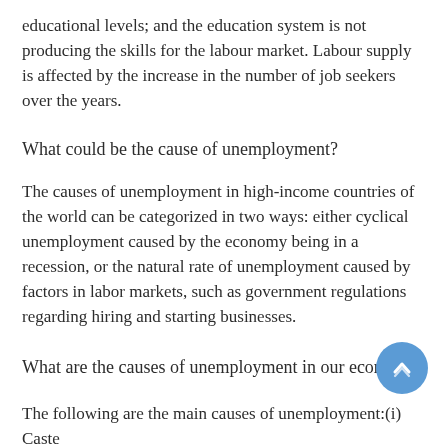educational levels; and the education system is not producing the skills for the labour market. Labour supply is affected by the increase in the number of job seekers over the years.
What could be the cause of unemployment?
The causes of unemployment in high-income countries of the world can be categorized in two ways: either cyclical unemployment caused by the economy being in a recession, or the natural rate of unemployment caused by factors in labor markets, such as government regulations regarding hiring and starting businesses.
What are the causes of unemployment in our economy?
The following are the main causes of unemployment:(i) Caste